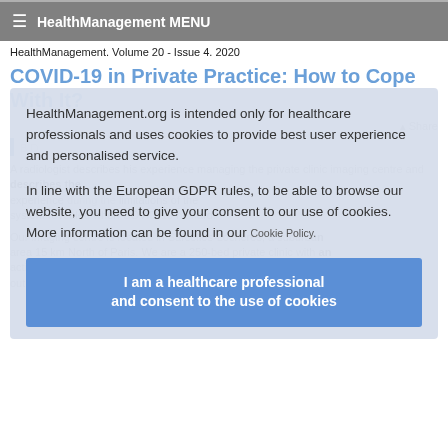HealthManagement MENU
HealthManagement. Volume 20 - Issue 4. 2020
COVID-19 in Private Practice: How to Cope With It?
[Figure (screenshot): Cookie consent overlay on HealthManagement.org website. Text reads: 'HealthManagement.org is intended only for healthcare professionals and uses cookies to provide best user experience and personalised service. In line with the European GDPR rules, to be able to browse our website, you need to give your consent to our use of cookies. More information can be found in our Cookie Policy.' Blue button: 'I am a healthcare professional and consent to the use of cookies']
A radiologist describes his experience managing the private clinic imaging centre and the limitations of the system revealed when COVID-19 hit hard.
Our imaging centre is located in Sarcelles-Locheres, a suburban area 15 km North of Paris. We are a 250-bed private clinic with an active emergency department, an oncology centre and many outpatient facilities including a comprehensive imaging department.